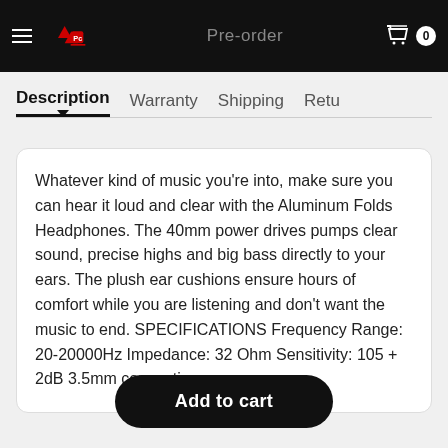Pre-order
Description | Warranty | Shipping | Retu...
Whatever kind of music you're into, make sure you can hear it loud and clear with the Aluminum Folds Headphones. The 40mm power drives pumps clear sound, precise highs and big bass directly to your ears. The plush ear cushions ensure hours of comfort while you are listening and don't want the music to end. SPECIFICATIONS Frequency Range: 20-20000Hz Impedance: 32 Ohm Sensitivity: 105 + 2dB 3.5mm connection